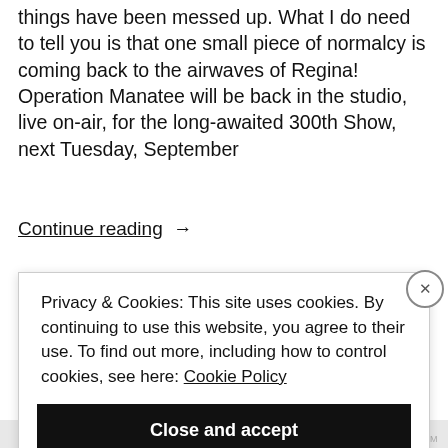things have been messed up. What I do need to tell you is that one small piece of normalcy is coming back to the airwaves of Regina! Operation Manatee will be back in the studio, live on-air, for the long-awaited 300th Show, next Tuesday, September
Continue reading →
Privacy & Cookies: This site uses cookies. By continuing to use this website, you agree to their use. To find out more, including how to control cookies, see here: Cookie Policy
Close and accept